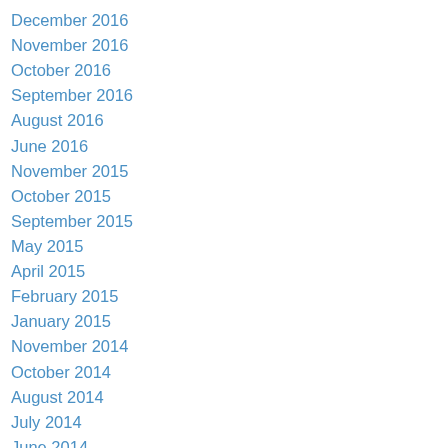December 2016
November 2016
October 2016
September 2016
August 2016
June 2016
November 2015
October 2015
September 2015
May 2015
April 2015
February 2015
January 2015
November 2014
October 2014
August 2014
July 2014
June 2014
May 2014
April 2014